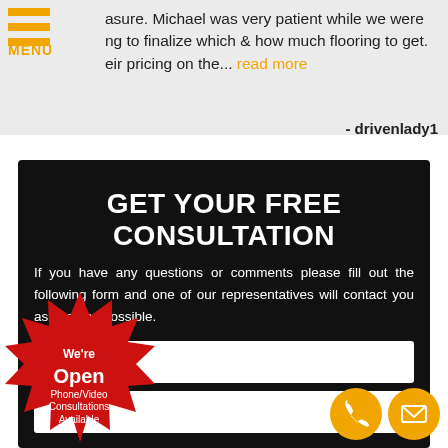asure. Michael was very patient while we were ng to finalize which & how much flooring to get. eir pricing on the... read more
- drivenlady1
GET YOUR FREE CONSULTATION
If you have any questions or comments please fill out the following form and one of our representatives will contact you as soon as possible.
[Figure (infographic): Red starburst badge with text: We're Open Phone/Video Consultations Available]
[Figure (infographic): Orange circle phone icon and orange circle email/envelope icon]